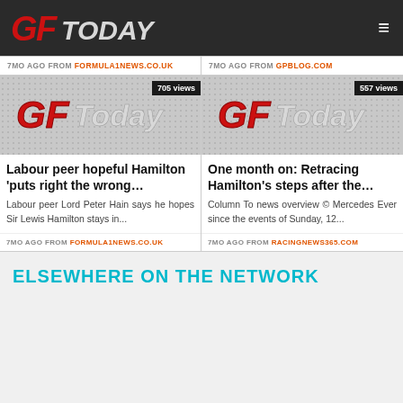GFToday navigation bar
7MO AGO FROM FORMULA1NEWS.CO.UK
7MO AGO FROM GPBLOG.COM
[Figure (screenshot): GFToday logo placeholder image with 705 views badge]
[Figure (screenshot): GFToday logo placeholder image with 557 views badge]
Labour peer hopeful Hamilton 'puts right the wrong…
One month on: Retracing Hamilton's steps after the…
Labour peer Lord Peter Hain says he hopes Sir Lewis Hamilton stays in...
Column To news overview © Mercedes Ever since the events of Sunday, 12...
7MO AGO FROM FORMULA1NEWS.CO.UK
7MO AGO FROM RACINGNEWS365.COM
ELSEWHERE ON THE NETWORK